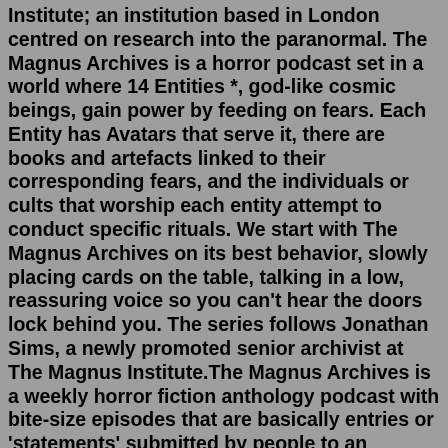Institute; an institution based in London centred on research into the paranormal. The Magnus Archives is a horror podcast set in a world where 14 Entities *, god-like cosmic beings, gain power by feeding on fears. Each Entity has Avatars that serve it, there are books and artefacts linked to their corresponding fears, and the individuals or cults that worship each entity attempt to conduct specific rituals. We start with The Magnus Archives on its best behavior, slowly placing cards on the table, talking in a low, reassuring voice so you can't hear the doors lock behind you. The series follows Jonathan Sims, a newly promoted senior archivist at The Magnus Institute.The Magnus Archives is a weekly horror fiction anthology podcast with bite-size episodes that are basically entries or 'statements' submitted by people to an organization called the Magnus Institute. Website - The Magnus Archives Facebook - The Rusty Quill <-- If you like it, leave them a rating!The complete archive for your viewing pleasure. Make your statement, face your